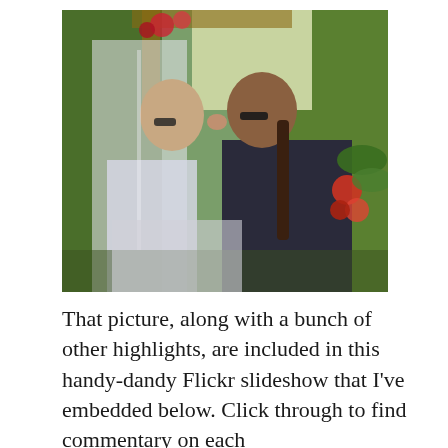[Figure (photo): A couple sharing a kiss at what appears to be an outdoor wedding ceremony. The person on the left is wearing a white wedding dress and veil with glasses, and the person on the right is wearing a dark suit jacket. There is lush green tropical foliage and flowers in the background.]
That picture, along with a bunch of other highlights, are included in this handy-dandy Flickr slideshow that I've embedded below. Click through to find commentary on each